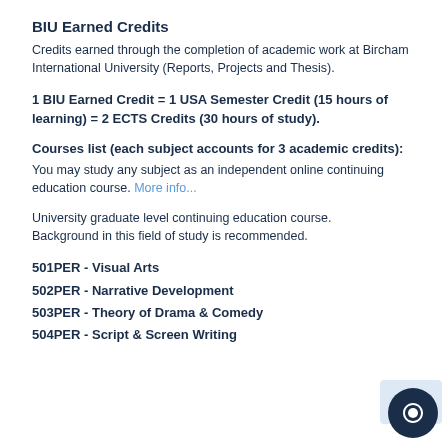BIU Earned Credits
Credits earned through the completion of academic work at Bircham International University (Reports, Projects and Thesis).
1 BIU Earned Credit = 1 USA Semester Credit (15 hours of learning) = 2 ECTS Credits (30 hours of study).
Courses list (each subject accounts for 3 academic credits):
You may study any subject as an independent online continuing education course. More info...
University graduate level continuing education course. Background in this field of study is recommended.
501PER - Visual Arts
502PER - Narrative Development
503PER - Theory of Drama & Comedy
504PER - Script & Screen Writing